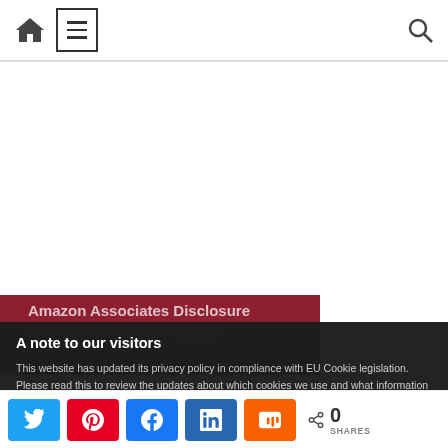Home | Menu | Search
[Figure (screenshot): Website header bar with home icon, hamburger menu box, and search icon]
[Figure (screenshot): Partially visible article with red background titled 'Amazon Associates Disclosure' with text about Elizabeth Needle being a participant in the Amazon Services LLC Associates Program, an affiliate]
A note to our visitors
This website has updated its privacy policy in compliance with EU Cookie legislation. Please read this to review the updates about which cookies we use and what information
[Figure (screenshot): Cookie consent overlay with dark background, title 'A note to our visitors', privacy policy text, and 'I agree' button]
Share buttons: Twitter, Pinterest, Facebook, LinkedIn, Mix | 0 SHARES